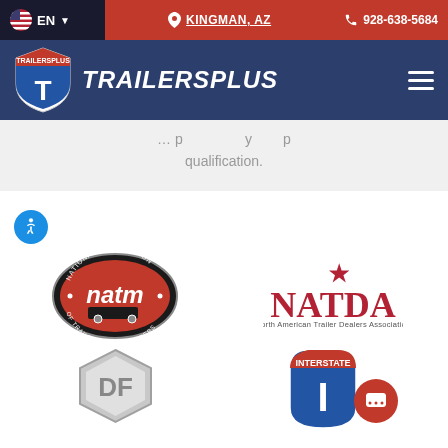EN | KINGMAN, AZ | 928-638-5684
[Figure (logo): TrailersPlus logo with shield icon and brand name TRAILERSPLUS in white italic on dark blue navigation bar]
qualification.
[Figure (logo): NATM National Association of Trailer Manufacturers circular logo]
[Figure (logo): NATDA North American Trailer Dealers Association logo]
[Figure (logo): DF hexagon metallic logo]
[Figure (logo): Interstate shield logo with letter I]